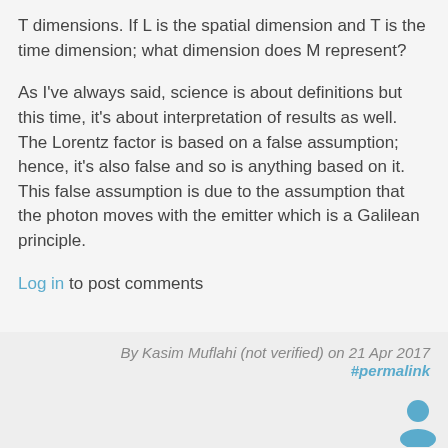T dimensions. If L is the spatial dimension and T is the time dimension; what dimension does M represent?
As I've always said, science is about definitions but this time, it's about interpretation of results as well. The Lorentz factor is based on a false assumption; hence, it's also false and so is anything based on it. This false assumption is due to the assumption that the photon moves with the emitter which is a Galilean principle.
Log in to post comments
By Kasim Muflahi (not verified) on 21 Apr 2017 #permalink
[Figure (other): User avatar icon — a generic blue person silhouette]
@Ethan,
You subscribe to DM and DE, but only where we can't measure it outside the influence of our local gravitation field, so why do you think the